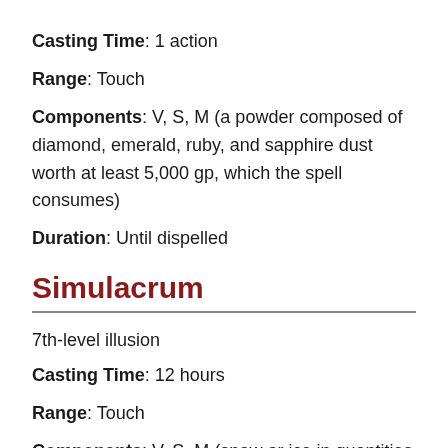Casting Time: 1 action
Range: Touch
Components: V, S, M (a powder composed of diamond, emerald, ruby, and sapphire dust worth at least 5,000 gp, which the spell consumes)
Duration: Until dispelled
Simulacrum
7th-level illusion
Casting Time: 12 hours
Range: Touch
Components: V, S, M (snow or ice in quantities sufficient to made a life-size copy of the duplicated